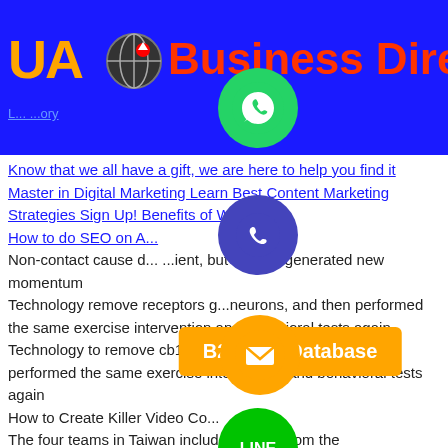UA Business Directory
Know that we all have a gift, we are here to help you find it
Master in Digital Marketing Learn Best Content Marketing Strategies Sign Up! Benefits of Whatsapp
How to do SEO on A...
Non-contact cause d... ...ient, but instead generated new momentum
Technology remove receptors g...neurons, and then performed the same exercise intervention and behavioral tests again
Technology to remove cb1 rec...n gaba neurons, and then performed the same exercise intervention and behavioral tests again
How to Create Killer Video Co...
The four teams in Taiwan includ...hengyu from the
If we can identify the key moments and know
Media Mix